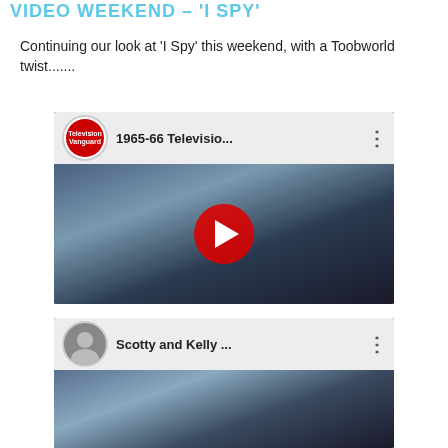VIDEO WEEKEND – 'I SPY'
Continuing our look at 'I Spy' this weekend, with a Toobworld twist.......
[Figure (screenshot): YouTube video thumbnail showing '1965-66 Televisio...' from Television Vanguard channel, with two men in suits and a red play button overlay]
[Figure (screenshot): YouTube video thumbnail showing 'Scotty and Kelly ...' with a person channel icon and two figures visible in background]